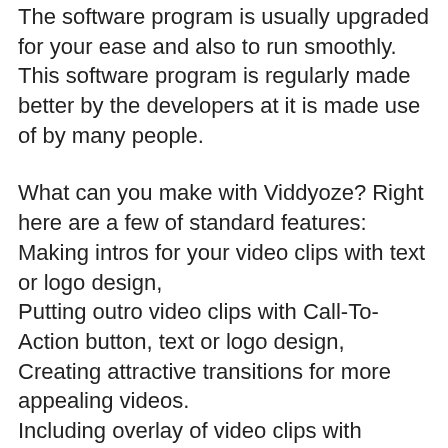The software program is usually upgraded for your ease and also to run smoothly. This software program is regularly made better by the developers at it is made use of by many people.
What can you make with Viddyoze? Right here are a few of standard features:
Making intros for your video clips with text or logo design,
Putting outro video clips with Call-To-Action button, text or logo design,
Creating attractive transitions for more appealing videos.
Including overlay of video clips with openness.
Producing computer animated videos for advertising and marketing tales.
Clickable animations ideal inside the videos.
Watermark with your brand's name or logo.